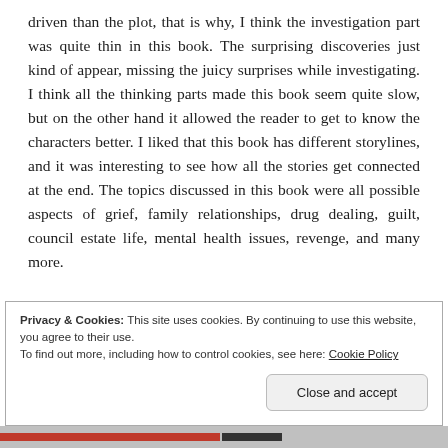driven than the plot, that is why, I think the investigation part was quite thin in this book. The surprising discoveries just kind of appear, missing the juicy surprises while investigating. I think all the thinking parts made this book seem quite slow, but on the other hand it allowed the reader to get to know the characters better. I liked that this book has different storylines, and it was interesting to see how all the stories get connected at the end. The topics discussed in this book were all possible aspects of grief, family relationships, drug dealing, guilt, council estate life, mental health issues, revenge, and many more.
Privacy & Cookies: This site uses cookies. By continuing to use this website, you agree to their use.
To find out more, including how to control cookies, see here: Cookie Policy
Close and accept